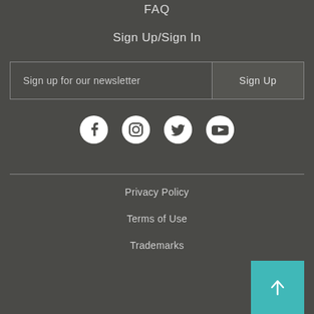FAQ
Sign Up/Sign In
Sign up for our newsletter   Sign Up
[Figure (other): Social media icons: Facebook, Instagram, Twitter, YouTube]
Privacy Policy
Terms of Use
Trademarks